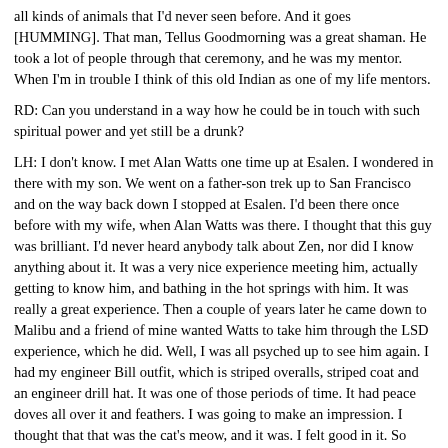all kinds of animals that I'd never seen before. And it goes [HUMMING]. That man, Tellus Goodmorning was a great shaman. He took a lot of people through that ceremony, and he was my mentor. When I'm in trouble I think of this old Indian as one of my life mentors.
RD: Can you understand in a way how he could be in touch with such spiritual power and yet still be a drunk?
LH: I don't know. I met Alan Watts one time up at Esalen. I wondered in there with my son. We went on a father-son trek up to San Francisco and on the way back down I stopped at Esalen. I'd been there once before with my wife, when Alan Watts was there. I thought that this guy was brilliant. I'd never heard anybody talk about Zen, nor did I know anything about it. It was a very nice experience meeting him, actually getting to know him, and bathing in the hot springs with him. It was really a great experience. Then a couple of years later he came down to Malibu and a friend of mine wanted Watts to take him through the LSD experience, which he did. Well, I was all psyched up to see him again. I had my engineer Bill outfit, which is striped overalls, striped coat and an engineer drill hat. It was one of those periods of time. It had peace doves all over it and feathers. I was going to make an impression. I thought that that was the cat's meow, and it was. I felt good in it. So Alan Watts comes in and he sits down at the bar and he says, "I'd like a very strong gin martini, thank you very much," and proceeded to